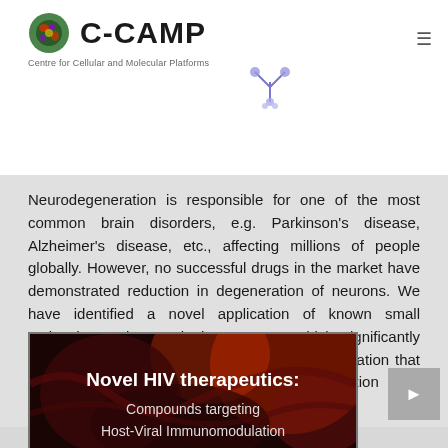C-CAMP Centre for Cellular and Molecular Platforms
Neurodegeneration is responsible for one of the most common brain disorders, e.g. Parkinson's disease, Alzheimer's disease, etc., affecting millions of people globally. However, no successful drugs in the market have demonstrated reduction in degeneration of neurons. We have identified a novel application of known small molecules and natural plant extracts which significantly reduce alpha-synucleinopathy and neuroinflammation that promise to be an effective intervention for Neurodegenerative diseases.
[Figure (photo): Dark red/maroon background image with text overlay reading 'Novel HIV therapeutics: Compounds targeting Host-Viral Immunomodulation']